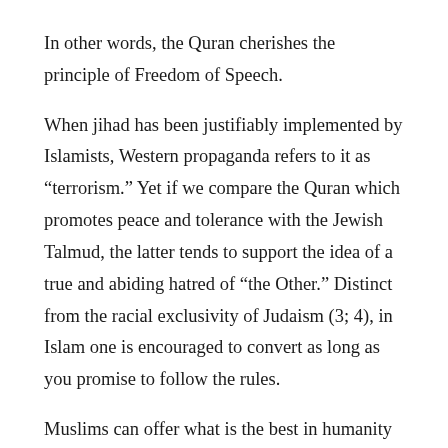In other words, the Quran cherishes the principle of Freedom of Speech.
When jihad has been justifiably implemented by Islamists, Western propaganda refers to it as “terrorism.” Yet if we compare the Quran which promotes peace and tolerance with the Jewish Talmud, the latter tends to support the idea of a true and abiding hatred of “the Other.” Distinct from the racial exclusivity of Judaism (3; 4), in Islam one is encouraged to convert as long as you promise to follow the rules.
Muslims can offer what is the best in humanity but are vulnerable to our worst tendencies as well. Journalist Robert Fisk’s monumental work, The Great War for Civilization, catalogs the corruption and brutality of all sides of the conflicts in the Middle East over the past few decades, neither painting the West entirely as evil or the Middle Easterners entirely as